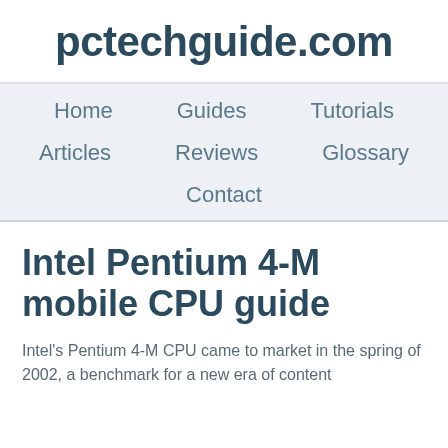pctechguide.com
Home   Guides   Tutorials   Articles   Reviews   Glossary   Contact
Intel Pentium 4-M mobile CPU guide
Intel's Pentium 4-M CPU came to market in the spring of 2002, a benchmark for a new era of content